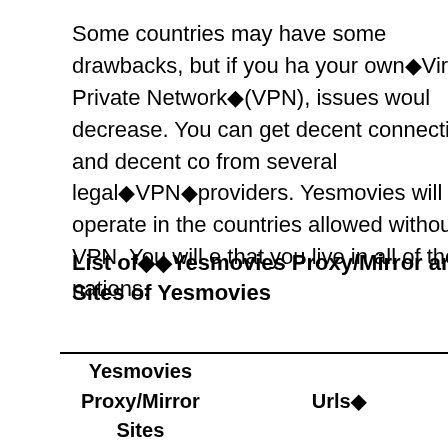Some countries may have some drawbacks, but if you have your own◆Virtual Private Network◆(VPN), issues would decrease. You can get decent connectivity and decent connectivity from several legal◆VPN◆providers. Yesmovies will also operate in the countries allowed without VPN. You will ensure that you live in all of these nations.
List of◆◆Yesmovies Proxy/Mirror and Sites of Yesmovies
| Yesmovies Proxy/Mirror Sites | Urls◆ | Wo |
| --- | --- | --- |
| Yesmovies.ag | https://yesmovies.ag/ | Yes |
| Yesmovies.zone | https://yesmovies.zone/ | Yes |
| Yesmovies.mom | https://yesmovies.mom/ | Yes |